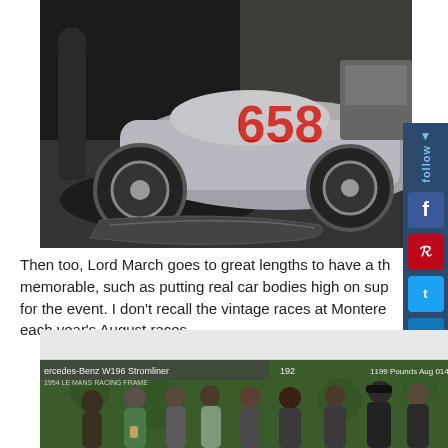[Figure (photo): Silver vintage racing car number 658 on a track, with a person standing nearby and a car body panel on the ground]
Then too, Lord March goes to great lengths to have a th memorable, such as putting real car bodies high on sup for the event. I don't recall the vintage races at Montere each year's August races.
[Figure (photo): People gathered under a tent near a display, including what appears to be a Mercedes-Benz W196 Stromliner sign, with various onlookers in casual and formal attire]